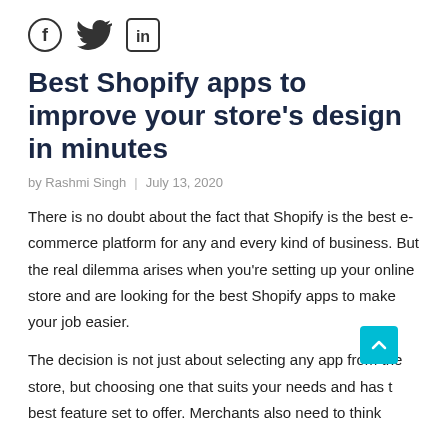[Figure (logo): Social media share icons: Facebook (circle F), Twitter (bird), LinkedIn (in square)]
Best Shopify apps to improve your store’s design in minutes
by Rashmi Singh  |  July 13, 2020
There is no doubt about the fact that Shopify is the best e-commerce platform for any and every kind of business. But the real dilemma arises when you’re setting up your online store and are looking for the best Shopify apps to make your job easier.
The decision is not just about selecting any app from the store, but choosing one that suits your needs and has the best feature set to offer. Merchants also need to think